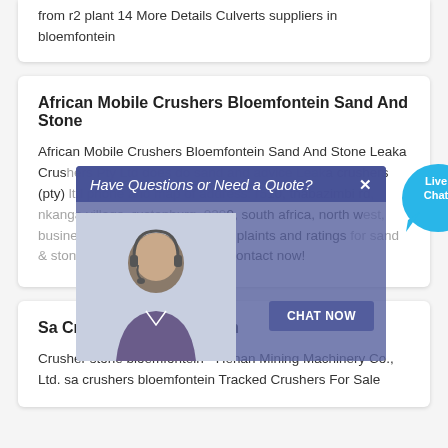from r2 plant 14 More Details Culverts suppliers in bloemfontein
African Mobile Crushers Bloemfontein Sand And Stone
African Mobile Crushers Bloemfontein Sand And Stone Leaka Crushers Pty Ltd does do sand and advice Leaka crushers (pty) ltd phone and map of address: r510, thabazimbi rd, nkanga village, rustenburg, 0299, south africa, north west, business reviews, consumer complaints and ratings for sand & stone suppliers in north west. contact now!
[Figure (screenshot): Live chat popup overlay with 'Have Questions or Need a Quote?' banner, a customer service representative image, a 'CHAT NOW' button, and a 'Live Chat' bubble icon in the top right.]
Sa Crushers Bloemfontein
Crusher stone bloemfontein - Henan Mining Machinery Co., Ltd. sa crushers bloemfontein Tracked Crushers For Sale